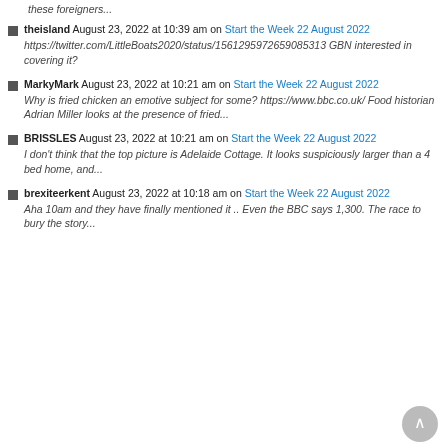these foreigners...
theisland August 23, 2022 at 10:39 am on Start the Week 22 August 2022
https://twitter.com/LittleBoats2020/status/1561295972659085313 GBN interested in covering it?
MarkyMark August 23, 2022 at 10:21 am on Start the Week 22 August 2022
Why is fried chicken an emotive subject for some? https://www.bbc.co.uk/ Food historian Adrian Miller looks at the presence of fried...
BRISSLES August 23, 2022 at 10:21 am on Start the Week 22 August 2022
I don't think that the top picture is Adelaide Cottage. It looks suspiciously larger than a 4 bed home, and...
brexiteerkent August 23, 2022 at 10:18 am on Start the Week 22 August 2022
Aha 10am and they have finally mentioned it .. Even the BBC says 1,300. The race to bury the story...